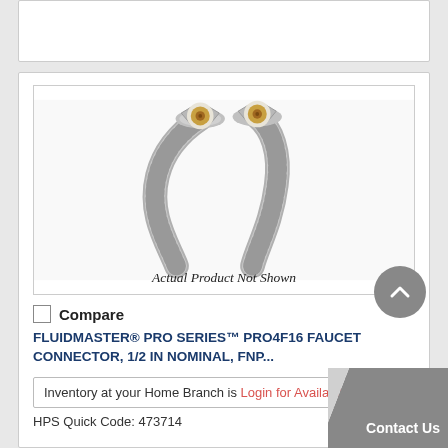[Figure (photo): Two braided stainless steel faucet connectors with brass fittings shown from above. Caption reads 'Actual Product Not Shown'.]
Actual Product Not Shown
Compare
FLUIDMASTER® PRO SERIES™ PRO4F16 FAUCET CONNECTOR, 1/2 IN NOMINAL, FNP...
Inventory at your Home Branch is Login for Availability
HPS Quick Code: 473714